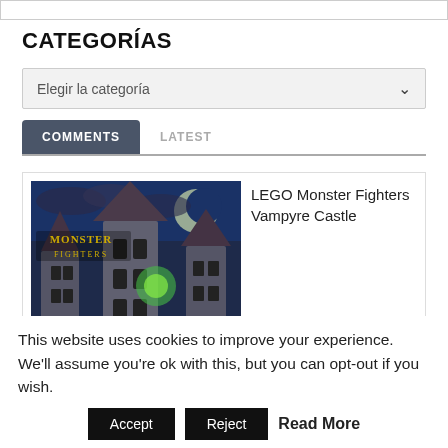CATEGORÍAS
Elegir la categoría
COMMENTS   LATEST
[Figure (photo): LEGO Monster Fighters castle image with dark blue night sky background and gothic castle towers]
LEGO Monster Fighters Vampyre Castle
This website uses cookies to improve your experience. We'll assume you're ok with this, but you can opt-out if you wish.
Accept   Reject   Read More